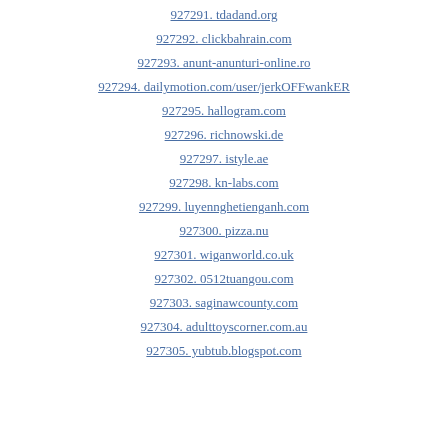927291. tdadand.org
927292. clickbahrain.com
927293. anunt-anunturi-online.ro
927294. dailymotion.com/user/jerkOFFwankER
927295. hallogram.com
927296. richnowski.de
927297. istyle.ae
927298. kn-labs.com
927299. luyennghetienganh.com
927300. pizza.nu
927301. wiganworld.co.uk
927302. 0512tuangou.com
927303. saginawcounty.com
927304. adulttoyscorner.com.au
927305. yubtub.blogspot.com